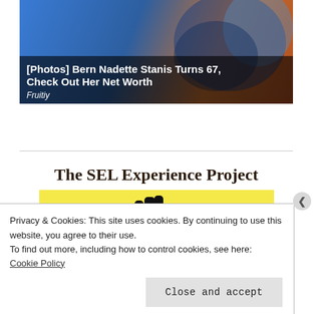[Figure (photo): Article card with colorful background image (blue and orange tones) showing a partial portrait. Overlay text reads '[Photos] Bern Nadette Stanis Turns 67, Check Out Her Net Worth' with source 'Fruitiy']
[Figure (illustration): The SEL Experience Project banner with title text and yellow background showing hand-drawn black hands/cactus shapes on a yellow background]
Privacy & Cookies: This site uses cookies. By continuing to use this website, you agree to their use.
To find out more, including how to control cookies, see here: Cookie Policy
Close and accept